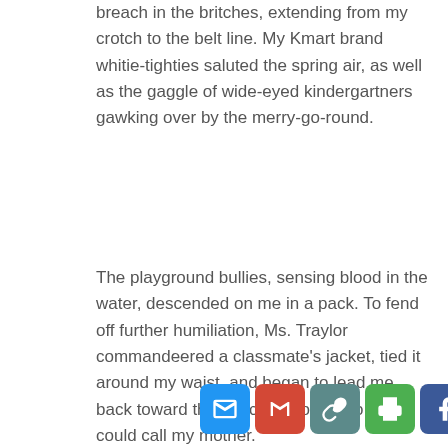breach in the britches, extending from my crotch to the belt line. My Kmart brand whitie-tighties saluted the spring air, as well as the gaggle of wide-eyed kindergartners gawking over by the merry-go-round.
The playground bullies, sensing blood in the water, descended on me in a pack. To fend off further humiliation, Ms. Traylor commandeered a classmate's jacket, tied it around my waist, and began to lead me back toward the principal's office so she could call my mother.
My mother brought me another pair of pants, but rather than take me home to nurse my psychological wounds, she made me stay the rest of the day. I'd like to tell ... didn't.
[Figure (other): Social sharing button bar with icons for Email, Gmail, Copy link, Print, Facebook, Messenger, Twitter, WhatsApp, LinkedIn]